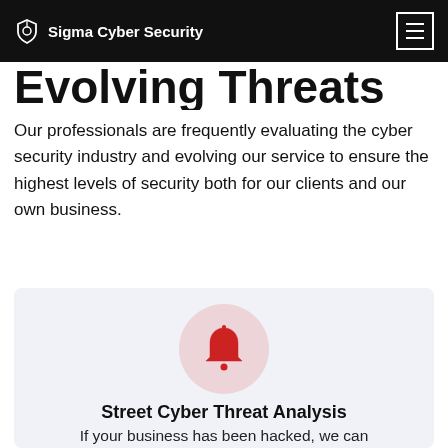Sigma Cyber Security
Evolving Threats
Our professionals are frequently evaluating the cyber security industry and evolving our service to ensure the highest levels of security both for our clients and our own business.
[Figure (illustration): Pink circle with a red bell icon inside]
Street Cyber Threat Analysis
If your business has been hacked, we can